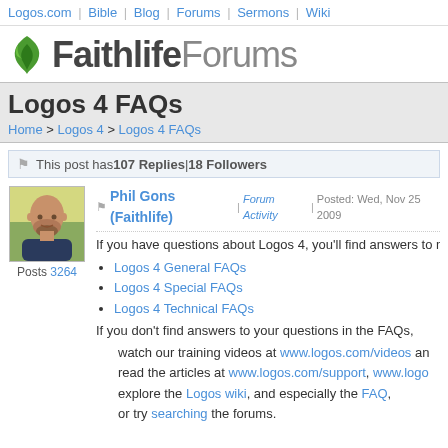Logos.com | Bible | Blog | Forums | Sermons | Wiki
[Figure (logo): Faithlife Forums logo with green leaf icon]
Logos 4 FAQs
Home > Logos 4 > Logos 4 FAQs
This post has 107 Replies | 18 Followers
[Figure (photo): Profile photo of Phil Gons, bald man with beard, outdoors]
Posts 3264
Phil Gons (Faithlife) | Forum Activity | Posted: Wed, Nov 25 2009
If you have questions about Logos 4, you'll find answers to ma
Logos 4 General FAQs
Logos 4 Special FAQs
Logos 4 Technical FAQs
If you don't find answers to your questions in the FAQs,
watch our training videos at www.logos.com/videos an
read the articles at www.logos.com/support, www.logo
explore the Logos wiki, and especially the FAQ,
or try searching the forums.